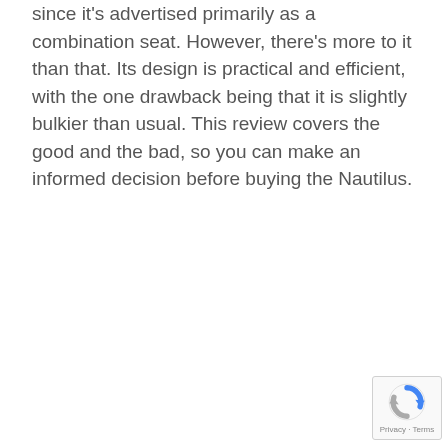since it's advertised primarily as a combination seat. However, there's more to it than that. Its design is practical and efficient, with the one drawback being that it is slightly bulkier than usual. This review covers the good and the bad, so you can make an informed decision before buying the Nautilus.
[Figure (other): reCAPTCHA privacy badge in lower right corner showing Google reCAPTCHA icon with 'Privacy - Terms' text]